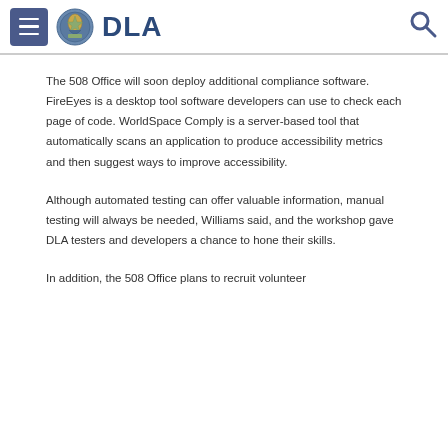DLA
The 508 Office will soon deploy additional compliance software. FireEyes is a desktop tool software developers can use to check each page of code. WorldSpace Comply is a server-based tool that automatically scans an application to produce accessibility metrics and then suggest ways to improve accessibility.
Although automated testing can offer valuable information, manual testing will always be needed, Williams said, and the workshop gave DLA testers and developers a chance to hone their skills.
In addition, the 508 Office plans to recruit volunteer